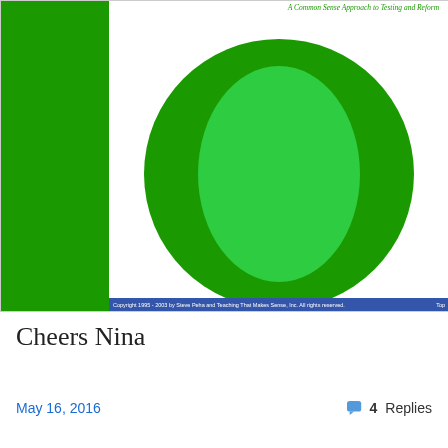[Figure (screenshot): Screenshot of an educational website with a green sidebar on the left. Three essay entries are shown: 'I Am Not Myself Today' (An Essay on Essay Writing), 'A Day in the Life' (An Essay About Tutoring), and 'Leave No Parent Behind' (An Essay on the Importance of Parent Education). A blue footer bar runs along the bottom with copyright text.]
Cheers Nina
May 16, 2016
4 Replies